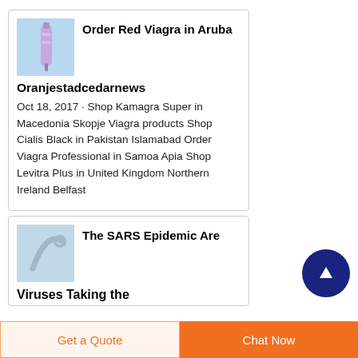[Figure (illustration): Blue/purple syringe or medical tube on light blue background]
Order Red Viagra in Aruba
Oranjestadcedarnews
Oct 18, 2017 · Shop Kamagra Super in Macedonia Skopje Viagra products Shop Cialis Black in Pakistan Islamabad Order Viagra Professional in Samoa Apia Shop Levitra Plus in United Kingdom Northern Ireland Belfast
[Figure (illustration): Medical catheter or tube on blue background]
The SARS Epidemic Are Viruses Taking the
Get a Quote
Chat Now